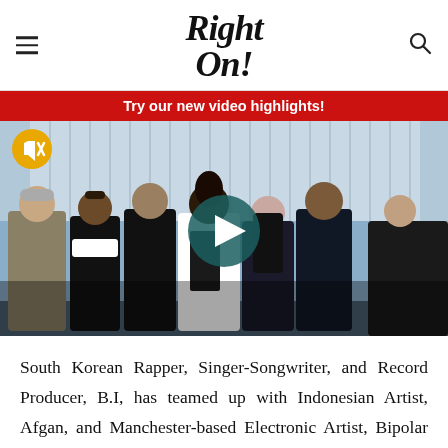Right On!
Try our new video highlights!
[Figure (photo): Group photo of seven people posing together at an indoor/outdoor event. One person on the far left wears a tweed jacket, others dressed in black. A play button overlay is visible in the center, and a mute button icon in the upper left corner.]
South Korean Rapper, Singer-Songwriter, and Record Producer, B.I, has teamed up with Indonesian Artist, Afgan, and Manchester-based Electronic Artist, Bipolar Sunshine. Out today via